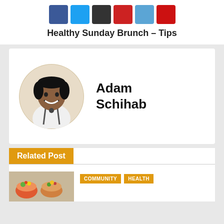[Figure (other): Six social media share buttons in a row: Facebook (dark blue), Twitter (light blue), black, red, light blue, red]
Healthy Sunday Brunch – Tips
[Figure (photo): Circular profile photo of Adam Schihab, a chef smiling, wearing white chef's uniform with suspenders]
Adam Schihab
Related Post
[Figure (photo): Small thumbnail image of colorful food bowls]
COMMUNITY
HEALTH